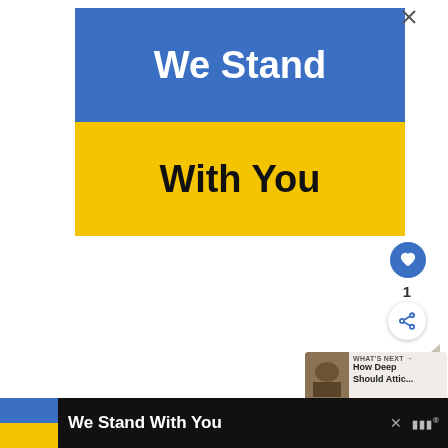[Figure (infographic): Advertisement banner with Ukrainian flag colors (blue top, yellow bottom). Blue section says 'We Stand' in white bold text. Yellow section says 'With You' in black bold text.]
The best way to resolve an insulation problem is to have a home inspector or contractor come in and
[Figure (infographic): Bottom sticky ad bar with Ukrainian flag icon and text 'We Stand With You' on dark background.]